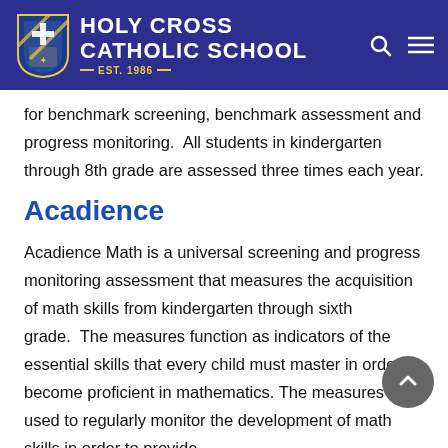Holy Cross Catholic School EST. 1986
for benchmark screening, benchmark assessment and progress monitoring.  All students in kindergarten through 8th grade are assessed three times each year.
Acadience
Acadience Math is a universal screening and progress monitoring assessment that measures the acquisition of math skills from kindergarten through sixth grade.  The measures function as indicators of the essential skills that every child must master in order to become proficient in mathematics. The measures are used to regularly monitor the development of math skills in order to provide